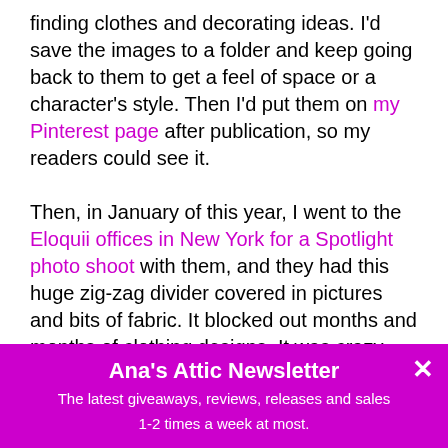finding clothes and decorating ideas. I'd save the images to a folder and keep going back to them to get a feel of space or a character's style. Then I'd put them on my Pinterest page after publication, so my readers could see it.

Then, in January of this year, I went to the Eloquii offices in New York for a Spotlight photo shoot with them, and they had this huge zig-zag divider covered in pictures and bits of fabric. It blocked out months and months of clothing designs. It was crazy cool! I'd just had my office redone and I thought, that would be perfect. Set up an easel by my desk and print out my images, so all I had to do was turn my head and visually be in my worlds. I love them.
Ana's Attic Newsletter
The latest giveaways, reviews, releases and sales
1-2 times a week at most.